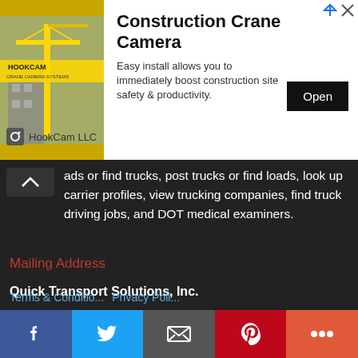[Figure (screenshot): Construction Crane Camera advertisement banner with crane image, HookCam LLC logo, title, description text, and Open button]
ads or find trucks, post trucks or find loads, look up carrier profiles, view trucking companies, find truck driving jobs, and DOT medical examiners.
Mailing Address
Quick Transport Solutions, Inc.
11501 Dublin Blvd. Suite 200
Dublin, CA 94568
Contact Us
510-887-9300
510-284-7280
Facebook Twitter Email Pinterest More